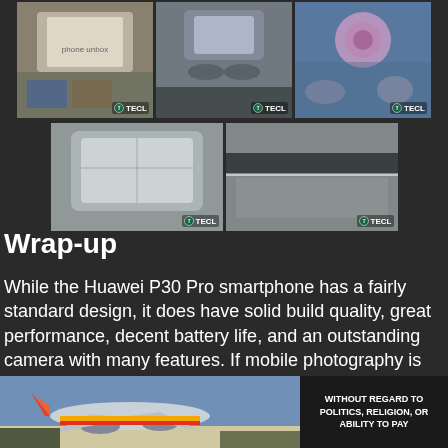[Figure (photo): Grid of 5 product photos of Huawei P30 Pro smartphone from various angles, with TECL watermark logos]
Wrap-up
While the Huawei P30 Pro smartphone has a fairly standard design, it does have solid build quality, great performance, decent battery life, and an outstanding camera with many features. If mobile photography is your thing, you'll be hard pressed to find a better...
[Figure (photo): Advertisement banner showing airplane/cargo plane with text WITHOUT REGARD TO POLITICS, RELIGION, OR ABILITY TO PAY]